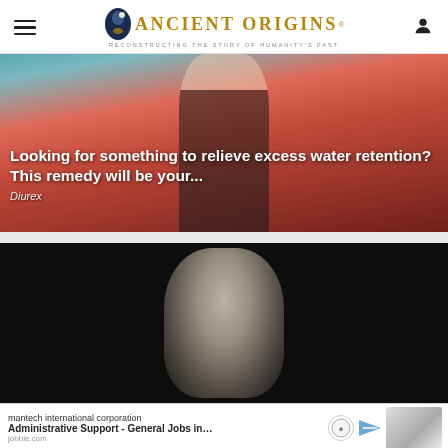Ancient Origins – Reconstructing the story of humanity's past
[Figure (photo): Advertisement banner showing a woman in a black swimsuit with a red background, with overlay text for Diurex water retention remedy]
Looking for something to relieve excess water retention? This remedy will be your... Diurex
[Figure (photo): Black and white photo of a woman (Marilyn Monroe style) on a dark background – article image for Ancient Origins]
mantech international corporation Administrative Support - General Jobs in... jobble.com